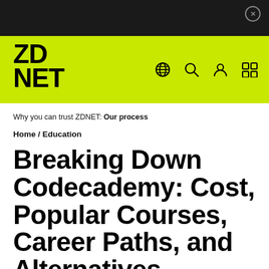ZDNET
Why you can trust ZDNET: Our process
Home / Education
Breaking Down Codecademy: Cost, Popular Courses, Career Paths, and Alternatives